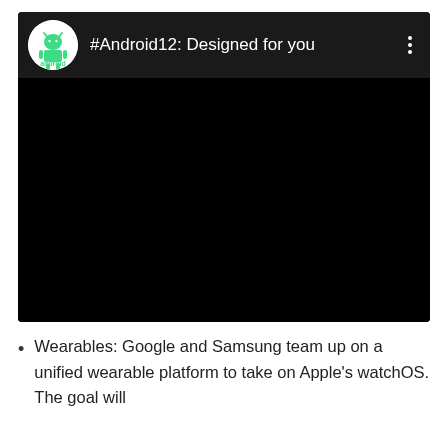[Figure (screenshot): YouTube video card showing Android channel with title '#Android12: Designed for you' on a black background, with Android logo in a white circle and three-dot menu icon]
Wearables: Google and Samsung team up on a unified wearable platform to take on Apple's watchOS. The goal will